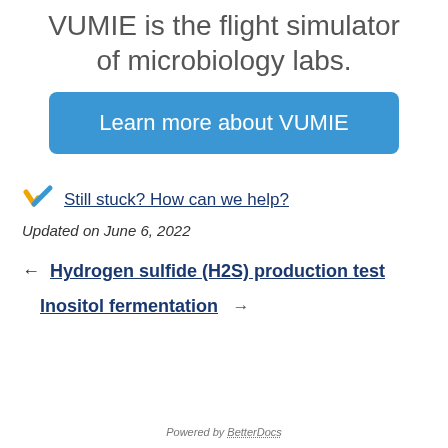VUMIE is the flight simulator of microbiology labs.
[Figure (other): Blue button: Learn more about VUMIE]
[Figure (logo): VUMIE logo — yellow and blue checkmark icon]
Still stuck? How can we help?
Updated on June 6, 2022
← Hydrogen sulfide (H2S) production test
Inositol fermentation →
Powered by BetterDocs